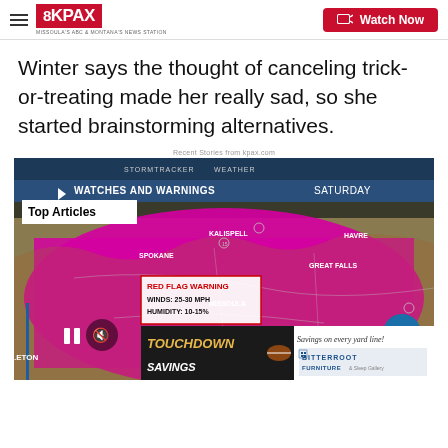8KPAX | Watch Now
Winter says the thought of canceling trick-or-treating made her really sad, so she started brainstorming alternatives.
Recent Stories from kpax.com
[Figure (screenshot): Weather map screenshot showing STORMTRACKER WEATHER banner, WATCHES AND WARNINGS - SATURDAY overlay, a pink/magenta shaded region covering Montana and surrounding areas indicating Red Flag Warning with winds 25-30 MPH and humidity 10-15%, city labels including HAVRE, KALISPELL, GREAT FALLS, MISSOULA, SPOKANE, LEWISTON, BOZEMAN. Video player controls visible with pause button, mute icon, and right arrow navigation button. 'Top Articles' badge overlay. Bottom advertisement: TOUCHDOWN SAVINGS on left, Savings on every yard line! / BITTERROOT FURNITURE & Sleep Gallery on right.]